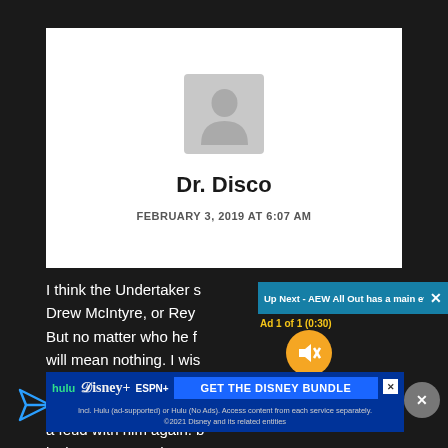[Figure (screenshot): User profile card with avatar placeholder, username Dr. Disco, and date February 3, 2019 at 6:07 AM on white background]
Dr. Disco
FEBRUARY 3, 2019 AT 6:07 AM
I think the Undertaker s Drew McIntyre, or Rey But no matter who he f will mean nothing. I wis often, like making a mo Finn Balor, McIntyre, ar a feud with him again. b loving ho matter
[Figure (screenshot): Up Next AEW All Out has a main event! overlay bar in teal, with Ad 1 of 1 (0:30) label and orange mute button, plus Disney Bundle banner at bottom with Hulu Disney+ ESPN+ logos and GET THE DISNEY BUNDLE CTA]